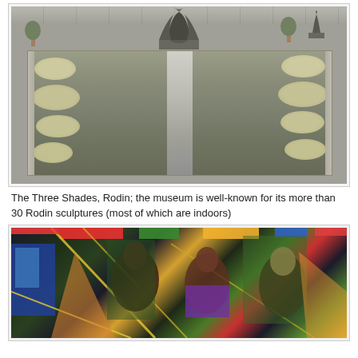[Figure (photo): Photograph of an outdoor sculpture garden featuring a rectangular pond with lily pads and a central water channel. Bronze sculptures visible in the background including The Three Shades by Rodin. Stone walls and potted trees surround the courtyard.]
The Three Shades, Rodin; the museum is well-known for its more than 30 Rodin sculptures (most of which are indoors)
[Figure (photo): Colorful contemporary painting with geometric shapes and figures of people rendered in bold colors including yellow, green, red, black, and orange against a dark background. Appears to be a collage-style artwork.]